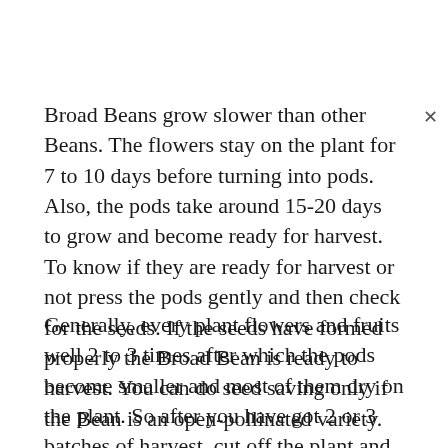Broad Beans grow slower than other Beans. The flowers stay on the plant for 7 to 10 days before turning into pods. Also, the pods take around 15-20 days to grow and become ready for harvest. To know if they are ready for harvest or not press the pods gently and then check for the seeds. If the seeds have formed properly the Broad Bean is ready to harvest. You can do seed saving only if the Bean is an open-pollinated variety.
Generally, every plant flowers and fruits well 2 to 3 times after which the pods become smaller and most of them dry on the plant. So after you have got 2 or 3 batches of harvest, cut off the plant and use it for mulching. Once ready, you can harvest Broad Beans according to how you prefer them and Broad Beans can be harvested